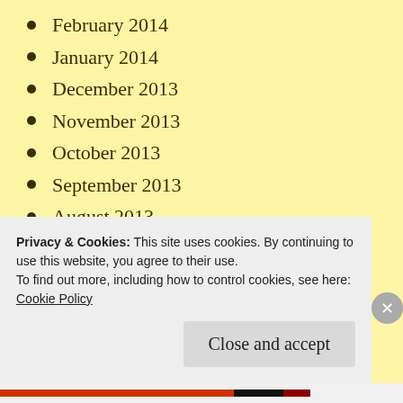February 2014
January 2014
December 2013
November 2013
October 2013
September 2013
August 2013
July 2013
June 2013
May 2013
April 2013
Privacy & Cookies: This site uses cookies. By continuing to use this website, you agree to their use.
To find out more, including how to control cookies, see here: Cookie Policy
Close and accept